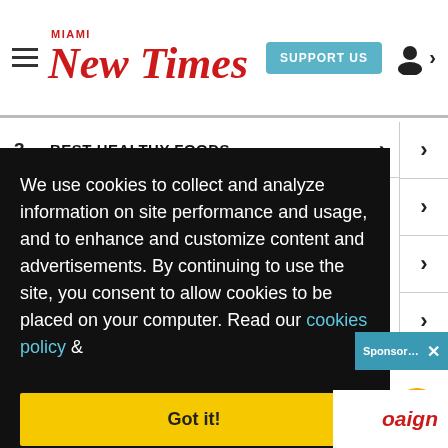Miami New Times — SUPPORT US
3. BEST HEALTHY FOODS
We use cookies to collect and analyze information on site performance and usage, and to enhance and customize content and advertisements. By continuing to use the site, you consent to allow cookies to be placed on your computer. Read our cookies policy and privacy statement.
Got it!
Sponsored Content - Mattingly on Lópe...
oaign